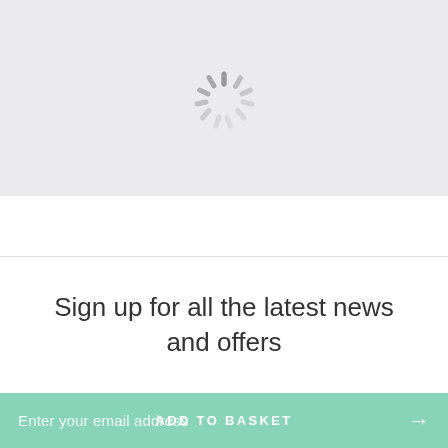[Figure (other): Loading spinner icon — a radial burst of short rounded gray lines on a light gray background, indicating content is loading.]
Sign up for all the latest news and offers
Enter your email address
ADD TO BASKET